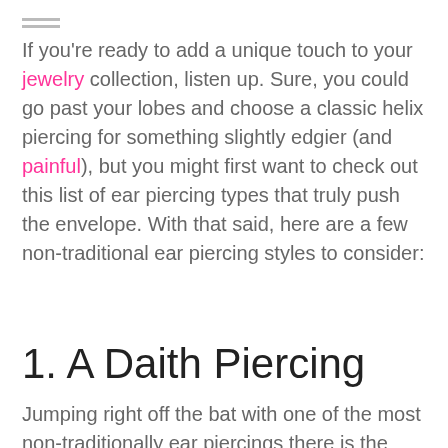If you're ready to add a unique touch to your jewelry collection, listen up. Sure, you could go past your lobes and choose a classic helix piercing for something slightly edgier (and painful), but you might first want to check out this list of ear piercing types that truly push the envelope. With that said, here are a few non-traditional ear piercing styles to consider:
1. A Daith Piercing
Jumping right off the bat with one of the most non-traditionally ear piercings there is the daith piercing. This type of piercing